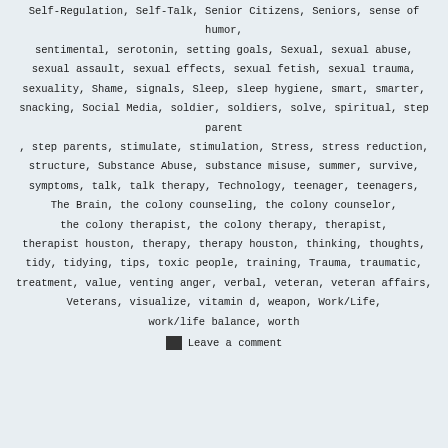Self-Regulation, Self-Talk, Senior Citizens, Seniors, sense of humor, sentimental, serotonin, setting goals, Sexual, sexual abuse, sexual assault, sexual effects, sexual fetish, sexual trauma, sexuality, Shame, signals, Sleep, sleep hygiene, smart, smarter, snacking, Social Media, soldier, soldiers, solve, spiritual, step parent, step parents, stimulate, stimulation, Stress, stress reduction, structure, Substance Abuse, substance misuse, summer, survive, symptoms, talk, talk therapy, Technology, teenager, teenagers, The Brain, the colony counseling, the colony counselor, the colony therapist, the colony therapy, therapist, therapist houston, therapy, therapy houston, thinking, thoughts, tidy, tidying, tips, toxic people, training, Trauma, traumatic, treatment, value, venting anger, verbal, veteran, veteran affairs, Veterans, visualize, vitamin d, weapon, Work/Life, work/life balance, worth
Leave a comment